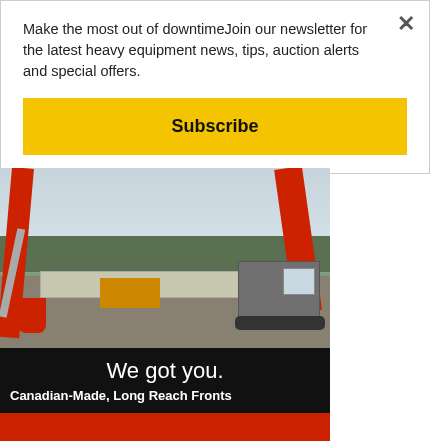Make the most out of downtimeJoin our newsletter for the latest heavy equipment news, tips, auction alerts and special offers.
Subscribe
[Figure (photo): Photo of a red long-reach excavator in a construction yard with containers and other equipment in the background. Black bar below with text: 'We got you.' and 'Canadian-Made, Long Reach Fronts'. Red bar at bottom.]